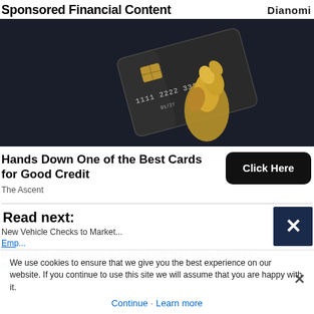Sponsored Financial Content
[Figure (photo): Dark background advertisement image showing a black premium credit card with number 1111 2222 3333 444 and expiry 01/27, alongside a gold sculptural figure hand]
Hands Down One of the Best Cards for Good Credit
The Ascent
Read next:
New Vehicle Checks to Market...
Emp...
Deepen your understanding of investing with Morningstar Premium.
NerdWallet
We use cookies to ensure that we give you the best experience on our website. If you continue to use this site we will assume that you are happy with it.
Continue  Learn more